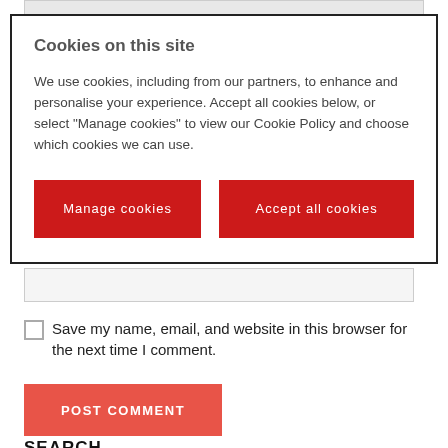[Figure (screenshot): Partially visible comment textarea input field (grayed out background) behind cookie modal overlay]
[Figure (screenshot): Cookie consent modal dialog with title 'Cookies on this site', descriptive text, and two red buttons: 'Manage cookies' and 'Accept all cookies']
Website
[Figure (screenshot): Website text input field with light gray background]
Save my name, email, and website in this browser for the next time I comment.
[Figure (screenshot): POST COMMENT button in red/coral color]
SEARCH